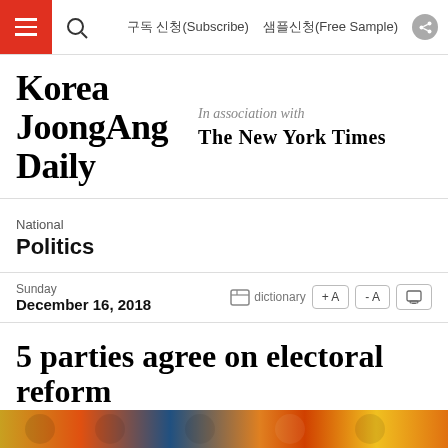구독 신청(Subscribe)  샘플신청(Free Sample)
[Figure (logo): Korea JoongAng Daily logo with 'In association with The New York Times']
National
Politics
Sunday
December 16, 2018
5 parties agree on electoral reform
[Figure (photo): Colorful photo strip at bottom of page]